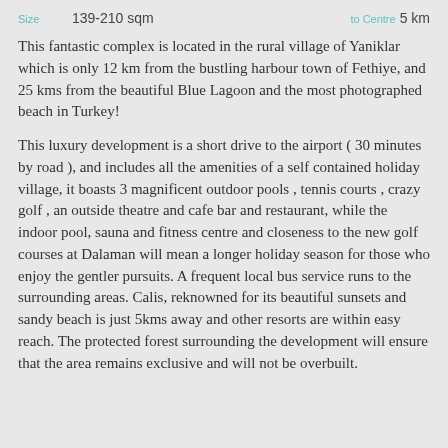| Size | Value | to Centre | Distance |
| --- | --- | --- | --- |
| Size | 139-210 sqm | to Centre | 5 km |
This fantastic complex is located in the rural village of Yaniklar which is only 12 km from the bustling harbour town of Fethiye, and 25 kms from the beautiful Blue Lagoon and the most photographed beach in Turkey!
This luxury development is a short drive to the airport ( 30 minutes by road ), and includes all the amenities of a self contained holiday village, it boasts 3 magnificent outdoor pools , tennis courts , crazy golf , an outside theatre and cafe bar and restaurant, while the indoor pool, sauna and fitness centre and closeness to the new golf courses at Dalaman will mean a longer holiday season for those who enjoy the gentler pursuits. A frequent local bus service runs to the surrounding areas. Calis, reknowned for its beautiful sunsets and sandy beach is just 5kms away and other resorts are within easy reach. The protected forest surrounding the development will ensure that the area remains exclusive and will not be overbuilt.